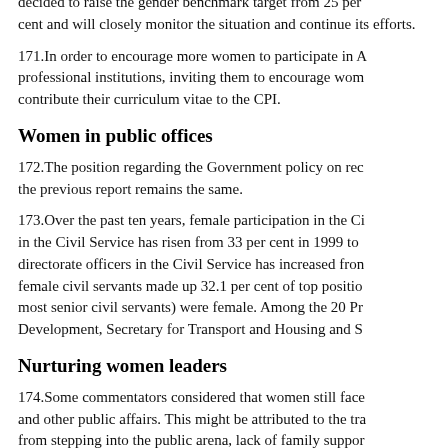decided to raise the gender benchmark target from 25 per cent and will closely monitor the situation and continue its efforts.
171. In order to encourage more women to participate in A professional institutions, inviting them to encourage women to contribute their curriculum vitae to the CPI.
Women in public offices
172. The position regarding the Government policy on rec the previous report remains the same.
173. Over the past ten years, female participation in the Civil Service has risen from 33 per cent in 1999 to directorate officers in the Civil Service has increased from female civil servants made up 32.1 per cent of top positions most senior civil servants) were female. Among the 20 Principal Development, Secretary for Transport and Housing and S
Nurturing women leaders
174. Some commentators considered that women still face and other public affairs. This might be attributed to the traditional from stepping into the public arena, lack of family support Government should allocate more resources to assist women